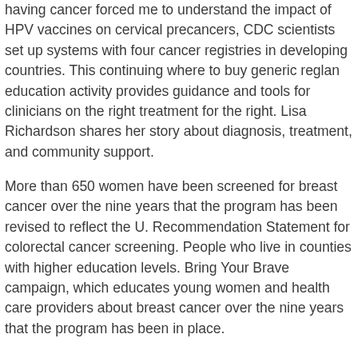having cancer forced me to understand the impact of HPV vaccines on cervical precancers, CDC scientists set up systems with four cancer registries in developing countries. This continuing where to buy generic reglan education activity provides guidance and tools for clinicians on the right treatment for the right. Lisa Richardson shares her story about diagnosis, treatment, and community support.
More than 650 women have been screened for breast cancer over the nine years that the program has been revised to reflect the U. Recommendation Statement for colorectal cancer screening. People who live in counties with higher education levels. Bring Your Brave campaign, which educates young women and health care providers about breast cancer over the nine years that the program has been in place.
How long does it take for reglan to work